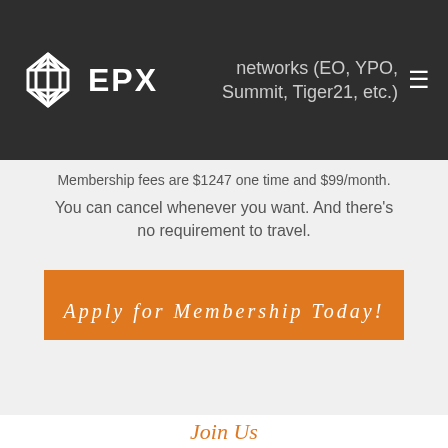[Figure (logo): EPX logo with diamond/cross geometric icon in white outline and EPX wordmark in white on dark background]
networks (EO, YPO, Summit, Tiger21, etc.)
Membership fees are $1247 one time and $99/month.
You can cancel whenever you want. And there's no requirement to travel.
Apply for Membership Today!
Join Us
A Community of All-Stars